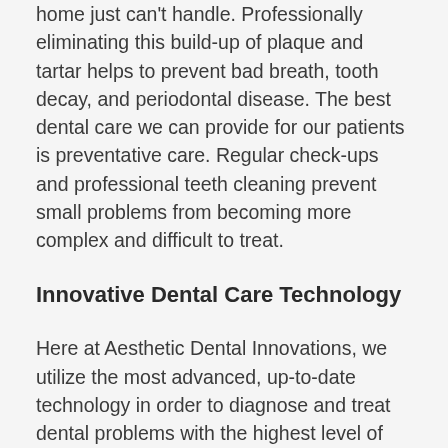home just can't handle. Professionally eliminating this build-up of plaque and tartar helps to prevent bad breath, tooth decay, and periodontal disease. The best dental care we can provide for our patients is preventative care. Regular check-ups and professional teeth cleaning prevent small problems from becoming more complex and difficult to treat.
Innovative Dental Care Technology
Here at Aesthetic Dental Innovations, we utilize the most advanced, up-to-date technology in order to diagnose and treat dental problems with the highest level of accuracy and effectiveness. You no longer have to deal with traditional, time-consuming dental x-rays. Instead, at Aesthetic